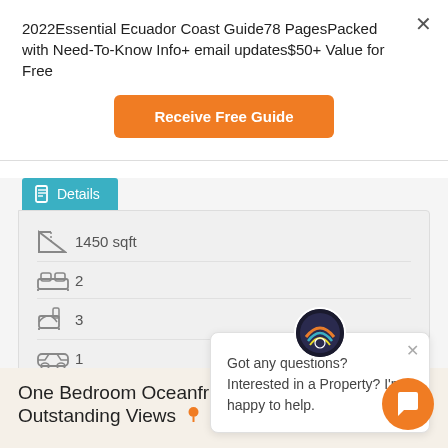2022Essential Ecuador Coast Guide78 PagesPacked with Need-To-Know Info+ email updates$50+ Value for Free
[Figure (other): Orange button labeled 'Receive Free Guide']
Details
1450 sqft
2
3
1
Got any questions? Interested in a Property? I'm happy to help.
One Bedroom Oceanfront Condo with Outstanding Views FEATURED